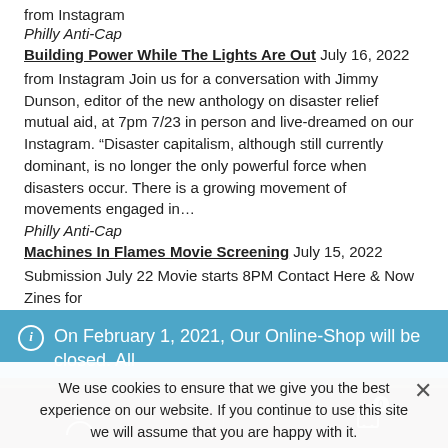from Instagram
Philly Anti-Cap
Building Power While The Lights Are Out July 16, 2022
from Instagram Join us for a conversation with Jimmy Dunson, editor of the new anthology on disaster relief mutual aid, at 7pm 7/23 in person and live-dreamed on our Instagram. “Disaster capitalism, although still currently dominant, is no longer the only powerful force when disasters occur. There is a growing movement of movements engaged in…
Philly Anti-Cap
Machines In Flames Movie Screening July 15, 2022
Submission July 22 Movie starts 8PM Contact Here & Now Zines for
On February 1, 2021, Our Online-Shop will be closed. All orders until January 31 will be delivered
Dismiss
We use cookies to ensure that we give you the best experience on our website. If you continue to use this site we will assume that you are happy with it.
Ok